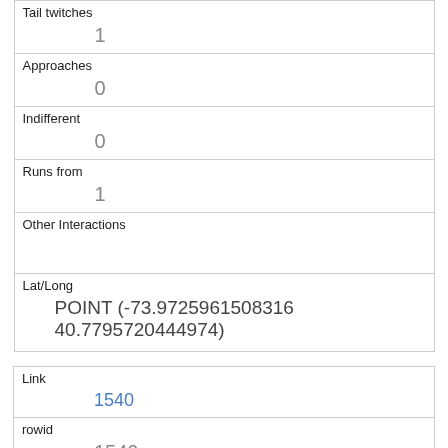| Tail twitches | 1 |
| Approaches | 0 |
| Indifferent | 0 |
| Runs from | 1 |
| Other Interactions |  |
| Lat/Long | POINT (-73.9725961508316 40.7795720444974) |
| Link | 1540 |
| rowid | 1540 |
| longitude | -73.957710975899 |
| latitude | 40.79840556140471 |